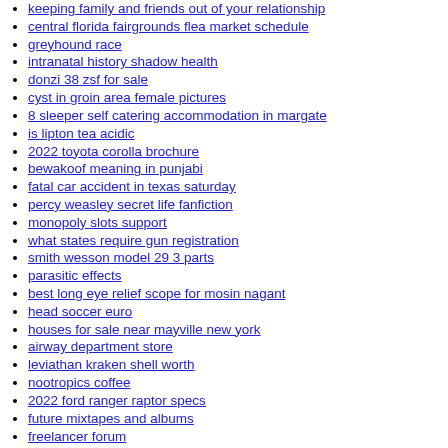keeping family and friends out of your relationship
central florida fairgrounds flea market schedule
greyhound race
intranatal history shadow health
donzi 38 zsf for sale
cyst in groin area female pictures
8 sleeper self catering accommodation in margate
is lipton tea acidic
2022 toyota corolla brochure
bewakoof meaning in punjabi
fatal car accident in texas saturday
percy weasley secret life fanfiction
monopoly slots support
what states require gun registration
smith wesson model 29 3 parts
parasitic effects
best long eye relief scope for mosin nagant
head soccer euro
houses for sale near mayville new york
airway department store
leviathan kraken shell worth
nootropics coffee
2022 ford ranger raptor specs
future mixtapes and albums
freelancer forum